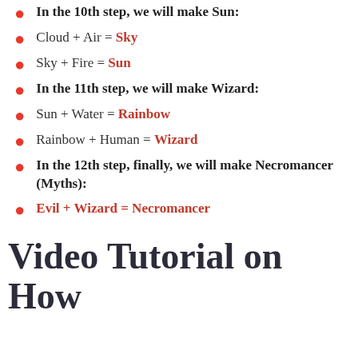In the 10th step, we will make Sun:
Cloud + Air = Sky
Sky + Fire = Sun
In the 11th step, we will make Wizard:
Sun + Water = Rainbow
Rainbow + Human = Wizard
In the 12th step, finally, we will make Necromancer (Myths):
Evil + Wizard = Necromancer
Video Tutorial on How